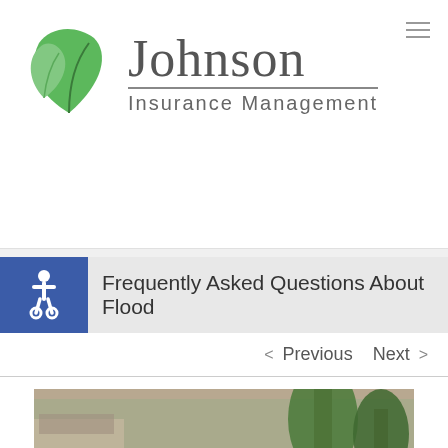[Figure (logo): Johnson Insurance Management logo with green leaf icon and company name]
Frequently Asked Questions About Flood
< Previous   Next >
[Figure (photo): Flood scene showing a person in a red life vest wading through flooded street with submerged cars and trees]